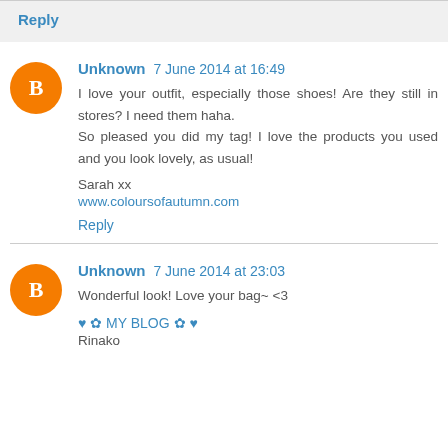Reply
Unknown 7 June 2014 at 16:49
I love your outfit, especially those shoes! Are they still in stores? I need them haha.
So pleased you did my tag! I love the products you used and you look lovely, as usual!

Sarah xx
www.coloursofautumn.com
Reply
Unknown 7 June 2014 at 23:03
Wonderful look! Love your bag~ <3
♥ ✿ MY BLOG ✿ ♥
Rinako